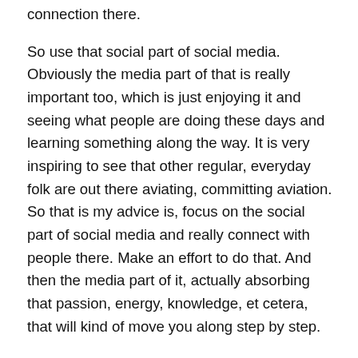connection there.
So use that social part of social media. Obviously the media part of that is really important too, which is just enjoying it and seeing what people are doing these days and learning something along the way. It is very inspiring to see that other regular, everyday folk are out there aviating, committing aviation. So that is my advice is, focus on the social part of social media and really connect with people there. Make an effort to do that. And then the media part of it, actually absorbing that passion, energy, knowledge, et cetera, that will kind of move you along step by step.
All right, so now that we've talked about actually going and talking to someone and then using social media as a way to connect in an even greater way in today's day and age, let's talk about the fab four. So as we go along here, I'm going to